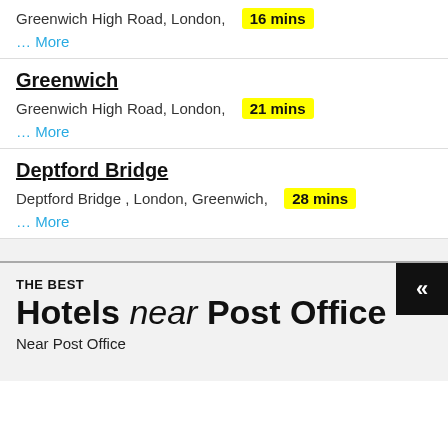Greenwich High Road, London,   16 mins
... More
Greenwich
Greenwich High Road, London,   21 mins
... More
Deptford Bridge
Deptford Bridge , London, Greenwich,   28 mins
... More
THE BEST
Hotels near Post Office
Near Post Office